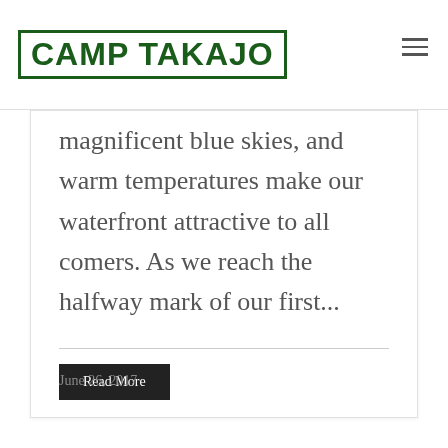CAMP TAKAJO
Another picture perfect day in Maine: bright sunshine, magnificent blue skies, and warm temperatures make our waterfront attractive to all comers. As we reach the halfway mark of our first...
Read More
June 26, 2017